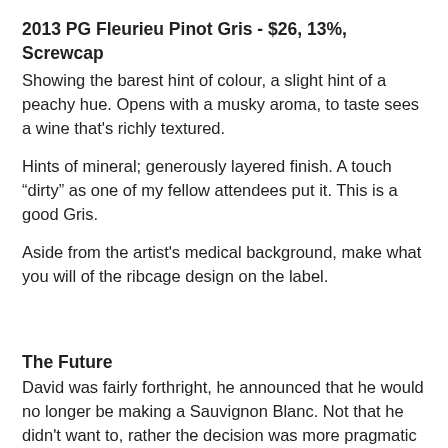2013 PG Fleurieu Pinot Gris - $26, 13%, Screwcap
Showing the barest hint of colour, a slight hint of a peachy hue. Opens with a musky aroma, to taste sees a wine that's richly textured.
Hints of mineral; generously layered finish. A touch "dirty" as one of my fellow attendees put it. This is a good Gris.
Aside from the artist's medical background, make what you will of the ribcage design on the label.
The Future
David was fairly forthright, he announced that he would no longer be making a Sauvignon Blanc. Not that he didn't want to, rather the decision was more pragmatic in that he saw that particular market as sufficiently crowded already, that he felt his efforts were best directed elsewhere. Expect to see the extension of the new identity as new vintages come on board, expect to see new varieties being explored and played. David seems a man enjoying his craft.